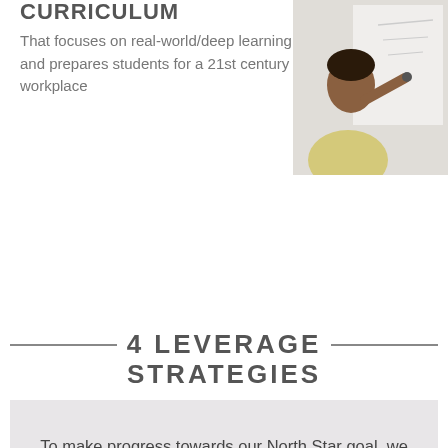CURRICULUM
That focuses on real-world/deep learning and prepares students for a 21st century workplace
[Figure (photo): Student writing on a whiteboard, viewed from the side]
4 LEVERAGE STRATEGIES
To make progress towards our North Star goal, we will activate four key Leverage Strategies to drive systems-wide change for families, students, educators combined with a strong public narrative.